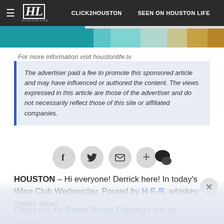HL  CLICK2HOUSTON  SEEN ON HOUSTON LIFE
[Figure (screenshot): Website navigation bar with hamburger icon, HL logo, CLICK2HOUSTON and SEEN ON HOUSTON LIFE links]
[Figure (infographic): Horizontal color band with teal to gold gradient segments]
For more information visit houstonlife.tv
The advertiser paid a fee to promote this sponsored article and may have influenced or authored the content. The views expressed in this article are those of the advertiser and do not necessarily reflect those of this site or affiliated companies.
[Figure (infographic): Social sharing icons: Facebook, Twitter, Email, Plus, Comments]
HOUSTON – Hi everyone! Derrick here! In today's Wine Club Wednesday, Poured by H-E-B, whiskey meets wine!
Check out the Barrel Bomb Cabernet and its unique